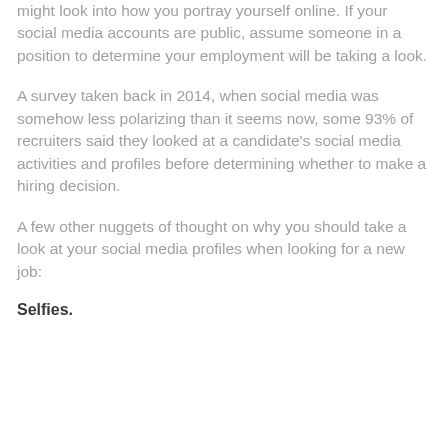might look into how you portray yourself online. If your social media accounts are public, assume someone in a position to determine your employment will be taking a look.
A survey taken back in 2014, when social media was somehow less polarizing than it seems now, some 93% of recruiters said they looked at a candidate's social media activities and profiles before determining whether to make a hiring decision.
A few other nuggets of thought on why you should take a look at your social media profiles when looking for a new job:
Selfies.